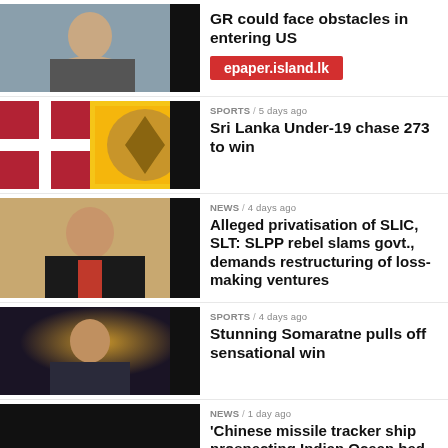[Figure (photo): Person holding chin, dark background]
GR could face obstacles in entering US
[Figure (infographic): epaper.island.lk red banner badge]
[Figure (photo): Sri Lanka and England flags]
SPORTS / 5 days ago
Sri Lanka Under-19 chase 273 to win
[Figure (photo): Man in suit with red tie]
NEWS / 4 days ago
Alleged privatisation of SLIC, SLT: SLPP rebel slams govt., demands restructuring of loss-making ventures
[Figure (photo): Young man dark background]
SPORTS / 4 days ago
Stunning Somaratne pulls off sensational win
[Figure (photo): Dark/black image]
NEWS / 1 day ago
'Chinese missile tracker ship prospecting Indian Ocean bed south of SL'